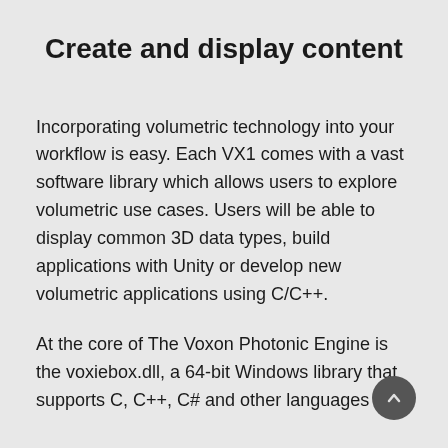Create and display content
Incorporating volumetric technology into your workflow is easy. Each VX1 comes with a vast software library which allows users to explore volumetric use cases. Users will be able to display common 3D data types, build applications with Unity or develop new volumetric applications using C/C++.
At the core of The Voxon Photonic Engine is the voxiebox.dll, a 64-bit Windows library that supports C, C++, C# and other languages with